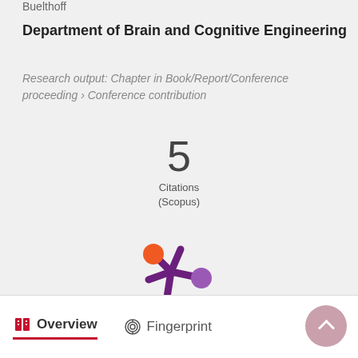Buelthoff
Department of Brain and Cognitive Engineering
Research output: Chapter in Book/Report/Conference proceeding › Conference contribution
[Figure (infographic): Citation count badge showing 5 Citations (Scopus)]
[Figure (logo): Altmetric donut/snowflake logo in purple and orange]
Overview   Fingerprint